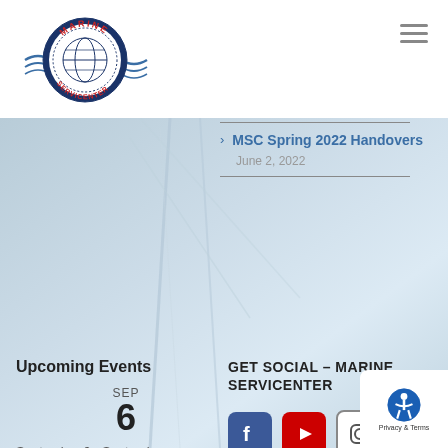[Figure (logo): Marine Servicenter circular logo with globe, waves, and text]
[Figure (other): Hamburger menu icon (three horizontal lines)]
[Figure (photo): Background photo of sailboat rigging and water, light blue tones]
> MSC Spring 2022 Handovers
June 2, 2022
Upcoming Events
SEP
6
September 6 - September 11
Cannes Yachting Festival 2022
GET SOCIAL – MARINE SERVICENTER
[Figure (other): Social media icons: Facebook (blue), YouTube (red), Instagram (outline)]